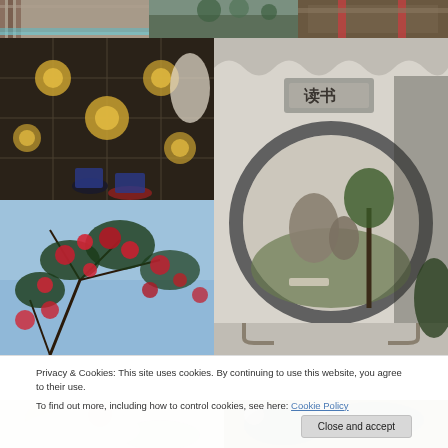[Figure (photo): Three photos in a horizontal strip at top: wooden corridor/hallway, outdoor trees/garden, traditional Chinese pavilion with red columns]
[Figure (photo): Decorative stone or tile mosaic floor pattern with floral motif, person's feet/shoes visible]
[Figure (photo): Red flowering camellia bush against blue sky]
[Figure (photo): Traditional Chinese garden circular moon gate in white wall with Chinese characters plaque above, garden visible through opening, decorative stone steps below]
Privacy & Cookies: This site uses cookies. By continuing to use this website, you agree to their use.
To find out more, including how to control cookies, see here: Cookie Policy
[Figure (photo): Two partial photos at bottom: left shows blossoms/garden scene, right shows garden with trees]